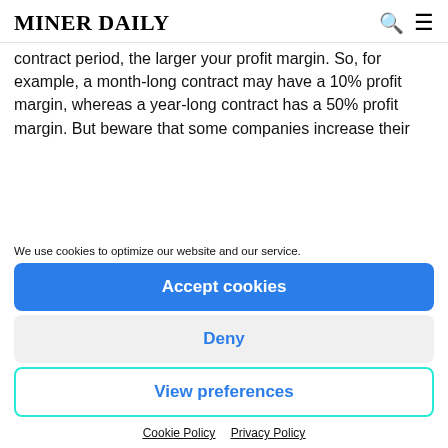MINER DAILY
contract period, the larger your profit margin. So, for example, a month-long contract may have a 10% profit margin, whereas a year-long contract has a 50% profit margin. But beware that some companies increase their
We use cookies to optimize our website and our service.
Accept cookies
Deny
View preferences
Cookie Policy   Privacy Policy